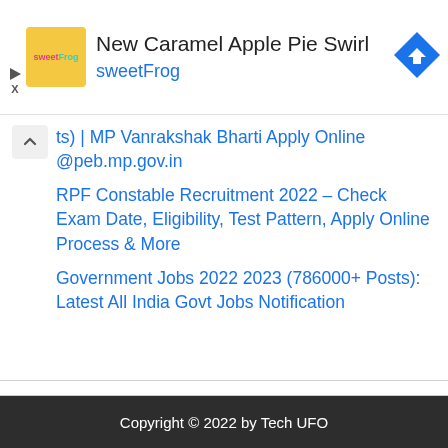[Figure (infographic): SweetFrog advertisement banner with logo, title 'New Caramel Apple Pie Swirl', brand name 'sweetFrog', and a blue navigation/directions icon on the right.]
ts) | MP Vanrakshak Bharti Apply Online @peb.mp.gov.in
RPF Constable Recruitment 2022 – Check Exam Date, Eligibility, Test Pattern, Apply Online Process & More
Government Jobs 2022 2023 (786000+ Posts): Latest All India Govt Jobs Notification
Copyright © 2022 by Tech UFO